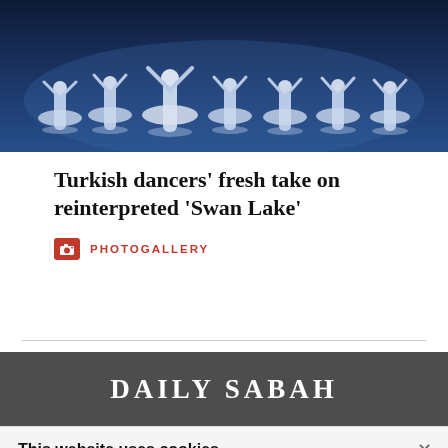[Figure (photo): Ballet dancers performing Swan Lake on stage, wearing white tutus with blue lighting, multiple dancers visible in a line]
Turkish dancers' fresh take on reinterpreted 'Swan Lake'
PHOTOGALLERY
[Figure (logo): Daily Sabah newspaper logo in white text on dark grey background]
This website uses cookies
Please click to read our informative text prepared pursuant to the Law on the Protection of Personal Data No. 6698 and to get information about the cookies used on our